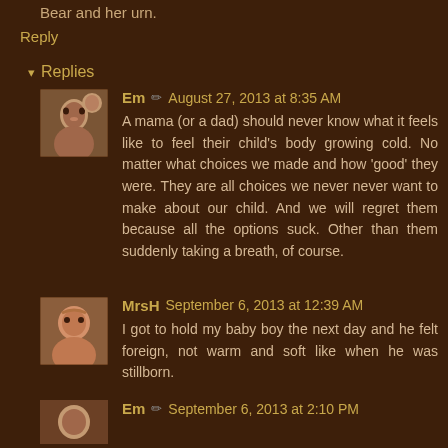Bear and her urn.
Reply
▾ Replies
Em ✏ August 27, 2013 at 8:35 AM
A mama (or a dad) should never know what it feels like to feel their child's body growing cold. No matter what choices we made and how 'good' they were. They are all choices we never never want to make about our child. And we will regret them because all the options suck. Other than them suddenly taking a breath, of course.
MrsH September 6, 2013 at 12:39 AM
I got to hold my baby boy the next day and he felt foreign, not warm and soft like when he was stillborn.
Em ✏ September 6, 2013 at 2:10 PM